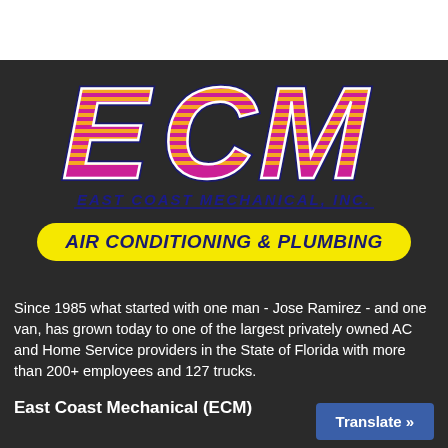[Figure (logo): ECM East Coast Mechanical Inc. logo with large stylized letters ECM in magenta/pink with horizontal orange stripe fills and dark blue outline, subtitle EAST COAST MECHANICAL, INC. in dark blue italic text]
AIR CONDITIONING & PLUMBING
Since 1985 what started with one man - Jose Ramirez - and one van, has grown today to one of the largest privately owned AC and Home Service providers in the State of Florida with more than 200+ employees and 127 trucks.
East Coast Mechanical (ECM)
Translate »